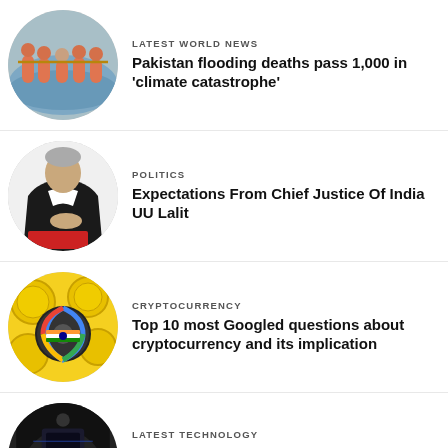[Figure (photo): Circular thumbnail: people in orange vests in flood water]
LATEST WORLD NEWS
Pakistan flooding deaths pass 1,000 in 'climate catastrophe'
[Figure (photo): Circular thumbnail: elderly man in dark judicial robes signing document]
POLITICS
Expectations From Chief Justice Of India UU Lalit
[Figure (photo): Circular thumbnail: colorful cryptocurrency coins illustration with Google logo]
CRYPTOCURRENCY
Top 10 most Googled questions about cryptocurrency and its implication
[Figure (photo): Circular thumbnail (partially visible): dark tech image]
LATEST TECHNOLOGY